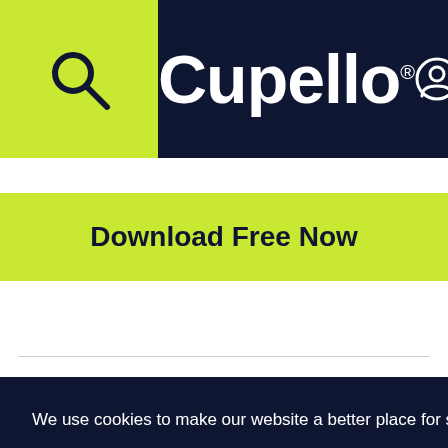[Figure (logo): Cupello logo in white on dark navy background with lime green search box on left, user icon and hamburger menu on right]
Download Free Now
ay
tacking
pitch as
We create
We use cookies to make our website a better place for soccer coaching. Learn more
Decline
Allow cookies